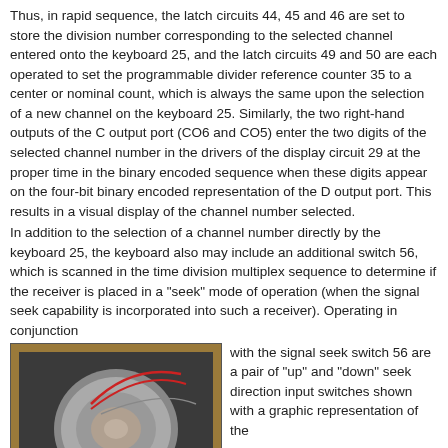Thus, in rapid sequence, the latch circuits 44, 45 and 46 are set to store the division number corresponding to the selected channel entered onto the keyboard 25, and the latch circuits 49 and 50 are each operated to set the programmable divider reference counter 35 to a center or nominal count, which is always the same upon the selection of a new channel on the keyboard 25. Similarly, the two right-hand outputs of the C output port (CO6 and CO5) enter the two digits of the selected channel number in the drivers of the display circuit 29 at the proper time in the binary encoded sequence when these digits appear on the four-bit binary encoded representation of the D output port. This results in a visual display of the channel number selected.
In addition to the selection of a channel number directly by the keyboard 25, the keyboard also may include an additional switch 56, which is scanned in the time division multiplex sequence to determine if the receiver is placed in a "seek" mode of operation (when the signal seek capability is incorporated into such a receiver). Operating in conjunction with the signal seek switch 56 are a pair of "up" and "down" seek direction input switches shown with a graphic representation of the
[Figure (photo): Photograph of an electronic component or receiver unit, showing internal circuitry with wires (red, green), a circuit board, and a large rounded component, placed in a wooden or metal enclosure.]